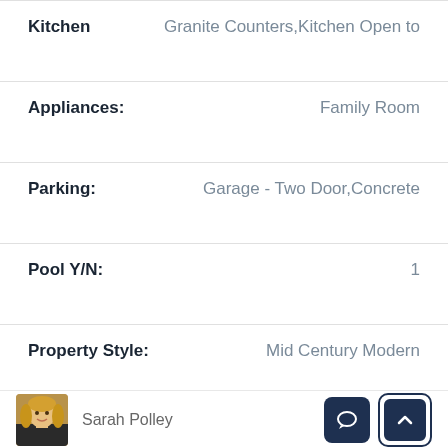| Field | Value |
| --- | --- |
| Kitchen | Granite Counters,Kitchen Open to |
| Appliances: | Family Room |
| Parking: | Garage - Two Door,Concrete |
| Pool Y/N: | 1 |
| Property Style: | Mid Century Modern |
| Roof: | Foam |
| Sewer: | Sewer Paid |
Sarah Polley